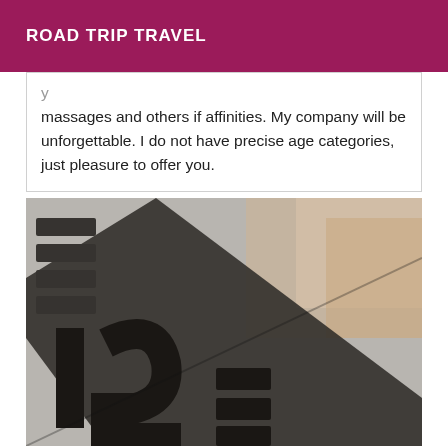ROAD TRIP TRAVEL
massages and others if affinities. My company will be unforgettable. I do not have precise age categories, just pleasure to offer you.
[Figure (photo): Close-up photo of large black stencil-style letters/numbers on a grey surface, with a diagonal black stripe, and a blurred background showing a person's legs.]